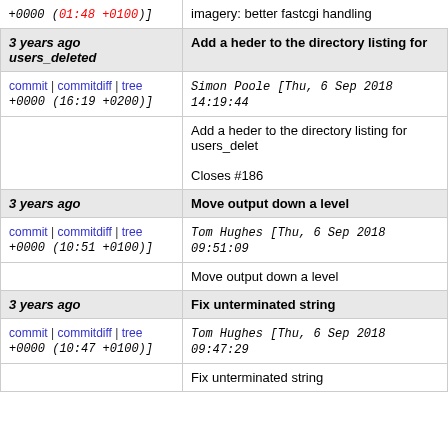| (top partial) +0000 (01:48 +0100)] | imagery: better fastcgi handling |
| 3 years ago users_deleted | Add a heder to the directory listing for |
| commit | commitdiff | tree +0000 (16:19 +0200)] | Simon Poole [Thu, 6 Sep 2018 14:19:44 +0000 (16:19 +0200)] |
|  | Add a heder to the directory listing for users_delet

Closes #186 |
| 3 years ago | Move output down a level |
| commit | commitdiff | tree +0000 (10:51 +0100)] | Tom Hughes [Thu, 6 Sep 2018 09:51:09 +0000 (10:51 +0100)] |
|  | Move output down a level |
| 3 years ago | Fix unterminated string |
| commit | commitdiff | tree +0000 (10:47 +0100)] | Tom Hughes [Thu, 6 Sep 2018 09:47:29 +0000 (10:47 +0100)] |
|  | Fix unterminated string |